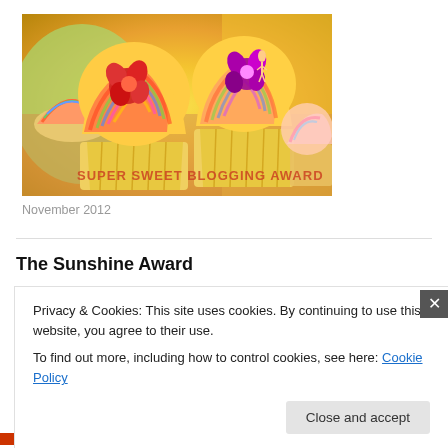[Figure (photo): Colorful rainbow-frosted cupcakes with flower decorations and text 'SUPER SWEET BLOGGING AWARD' overlaid at the bottom]
November 2012
The Sunshine Award
Privacy & Cookies: This site uses cookies. By continuing to use this website, you agree to their use.
To find out more, including how to control cookies, see here: Cookie Policy
Close and accept